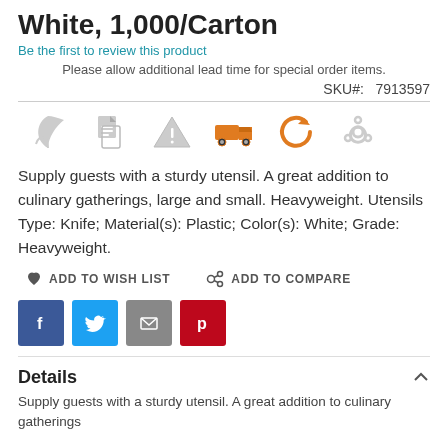White, 1,000/Carton
Be the first to review this product
Please allow additional lead time for special order items.
SKU#:  7913597
[Figure (infographic): Row of 6 icons: leaf (gray), document (gray), warning triangle (gray), delivery truck (orange), undo arrow (orange), biohazard (gray)]
Supply guests with a sturdy utensil. A great addition to culinary gatherings, large and small. Heavyweight. Utensils Type: Knife; Material(s): Plastic; Color(s): White; Grade: Heavyweight.
ADD TO WISH LIST    ADD TO COMPARE
[Figure (infographic): Social share buttons: Facebook (blue), Twitter (light blue), Email (gray), Pinterest (red)]
Details
Supply guests with a sturdy utensil. A great addition to culinary gatherings